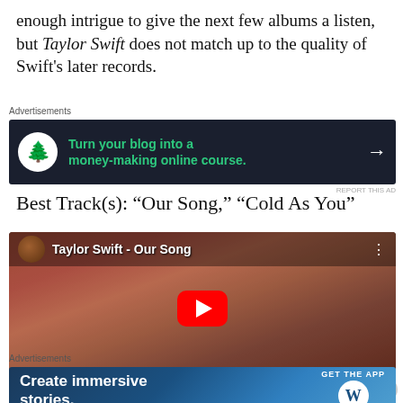enough intrigue to give the next few albums a listen, but Taylor Swift does not match up to the quality of Swift's later records.
[Figure (screenshot): Advertisement banner: dark navy background with bonsai tree icon and text 'Turn your blog into a money-making online course.' with arrow]
Best Track(s): “Our Song,” “Cold As You”
[Figure (screenshot): YouTube video thumbnail for 'Taylor Swift - Our Song' showing Taylor Swift among flowers with a red play button in the center]
[Figure (screenshot): Advertisement banner: blue gradient background with text 'Create immersive stories.' GET THE APP with WordPress logo]